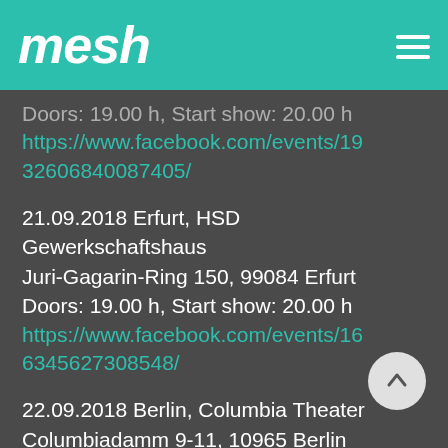mesh
Doors: 19.00 h, Start show: 20.00 h
https://www.facebook.com/events/1932606840087405/
21.09.2018 Erfurt, HSD Gewerkschaftshaus
Juri-Gagarin-Ring 150, 99084 Erfurt
Doors: 19.00 h, Start show: 20.00 h
https://www.facebook.com/events/166345627308548/
22.09.2018 Berlin, Columbia Theater
Columbiadamm 9-11, 10965 Berlin
Doors: 19.00 h, Start show: 20.00 h
https://www.facebook.com/events/14[partial]